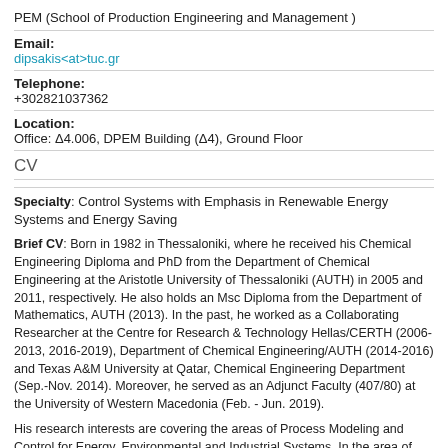PEM (School of Production Engineering and Management )
Email:
dipsakis<at>tuc.gr
Telephone:
+302821037362
Location:
Office: Δ4.006, DPEM Building (Δ4), Ground Floor
CV
Specialty: Control Systems with Emphasis in Renewable Energy Systems and Energy Saving
Brief CV: Born in 1982 in Thessaloniki, where he received his Chemical Engineering Diploma and PhD from the Department of Chemical Engineering at the Aristotle University of Thessaloniki (AUTH) in 2005 and 2011, respectively. He also holds an Msc Diploma from the Department of Mathematics, AUTH (2013). In the past, he worked as a Collaborating Researcher at the Centre for Research & Technology Hellas/CERTH (2006-2013, 2016-2019), Department of Chemical Engineering/AUTH (2014-2016) and Texas A&M University at Qatar, Chemical Engineering Department (Sep.-Nov. 2014). Moreover, he served as an Adjunct Faculty (407/80) at the University of Western Macedonia (Feb. - Jun. 2019).
His research interests are covering the areas of Process Modeling and Control for Energy, Environmental and Industrial Systems. In the area of